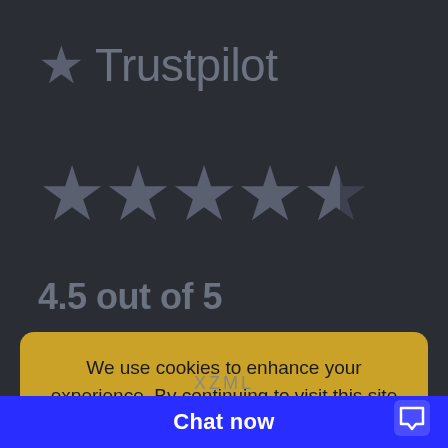[Figure (logo): Trustpilot logo with star icon and brand name]
[Figure (infographic): 4.5 out of 5 star rating shown as five large stars (4 filled, 1 half-filled)]
4.5 out of 5
We use cookies to enhance your experience. By continuing to visit this site you agree to our use of cookies. More info
Close
XZML
Chat now